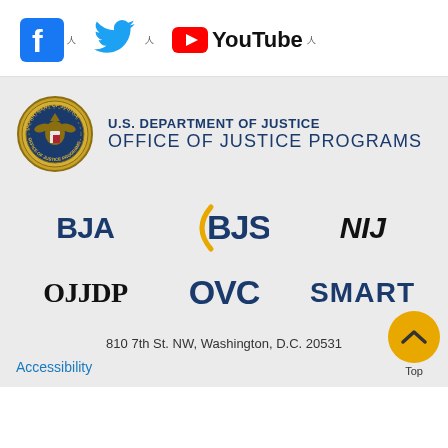[Figure (logo): Social media icons: Facebook, Twitter, YouTube with external link indicators]
[Figure (logo): U.S. Department of Justice Office of Justice Programs seal and text logo]
[Figure (logo): BJA logo]
[Figure (logo): BJS logo with orange arc]
[Figure (logo): NIJ logo in italic]
[Figure (logo): OJJDP logo]
[Figure (logo): OVC logo]
[Figure (logo): SMART logo]
810 7th St. NW, Washington, D.C. 20531
Accessibility